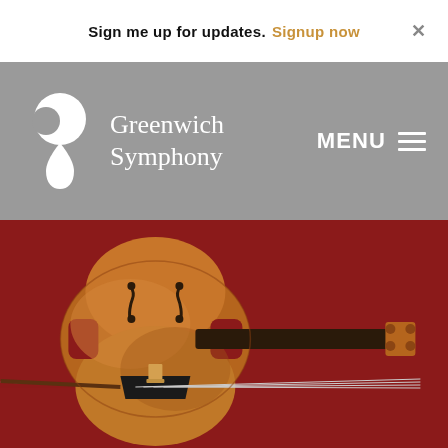Sign me up for updates. Signup now ×
[Figure (logo): Greenwich Symphony Orchestra logo — white abstract figure/bubble shape with organization name]
MENU ≡
[Figure (photo): A cello lying horizontally on a dark red/crimson background, showing the body, f-holes, strings, bridge, and scroll, with a bow extending to the right]